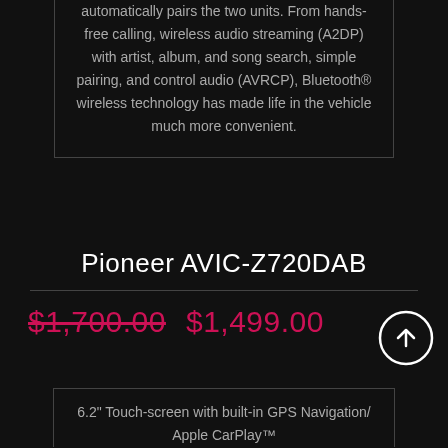automatically pairs the two units. From hands-free calling, wireless audio streaming (A2DP) with artist, album, and song search, simple pairing, and control audio (AVRCP), Bluetooth® wireless technology has made life in the vehicle much more convenient.
Pioneer AVIC-Z720DAB
$1,700.00  $1,499.00
6.2" Touch-screen with built-in GPS Navigation/ Apple CarPlay™